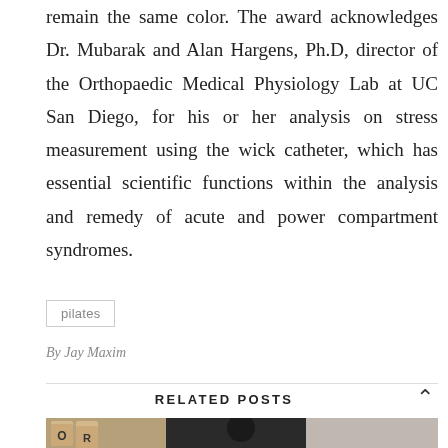remain the same color. The award acknowledges Dr. Mubarak and Alan Hargens, Ph.D, director of the Orthopaedic Medical Physiology Lab at UC San Diego, for his or her analysis on stress measurement using the wick catheter, which has essential scientific functions within the analysis and remedy of acute and power compartment syndromes.
pilates
By Jay Maxim
RELATED POSTS
[Figure (photo): A collage of three overlapping photos: Scrabble tiles spelling letters S, K, R, O, L, P on the left; a dark portrait photo in the center; and a partially visible lighter photo on the right.]